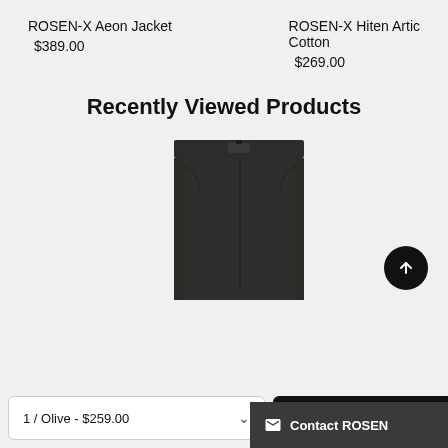ROSEN-X Aeon Jacket
$389.00
ROSEN-X Hiten Artic Cotton
$269.00
Recently Viewed Products
[Figure (photo): Dark olive/charcoal pants product photo showing waistband and upper portion of trousers]
1 / Olive - $259.00
ADD TO CART
Contact ROSEN